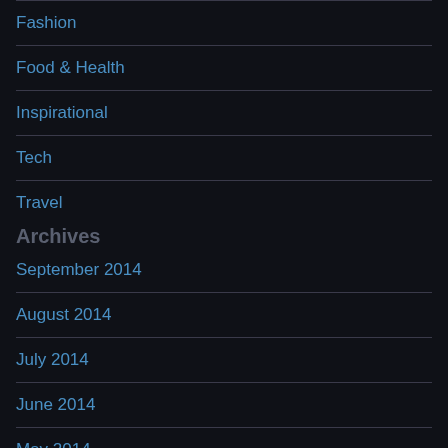Fashion
Food & Health
Inspirational
Tech
Travel
Archives
September 2014
August 2014
July 2014
June 2014
May 2014